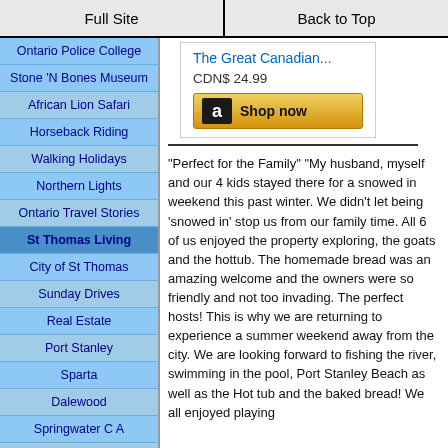Full Site | Back to Top
Ontario Police College
Stone 'N Bones Museum
African Lion Safari
Horseback Riding
Walking Holidays
Northern Lights
Ontario Travel Stories
St Thomas Living
City of St Thomas
Sunday Drives
Real Estate
Port Stanley
Sparta
Dalewood
Springwater C A
Collier Homes
[Figure (other): Amazon shop widget showing 'The Great Canadian...' book for CDN$ 24.99 with a Shop now button]
"Perfect for the Family" "My husband, myself and our 4 kids stayed there for a snowed in weekend this past winter. We didn't let being 'snowed in' stop us from our family time. All 6 of us enjoyed the property exploring, the goats and the hottub. The homemade bread was an amazing welcome and the owners were so friendly and not too invading. The perfect hosts! This is why we are returning to experience a summer weekend away from the city. We are looking forward to fishing the river, swimming in the pool, Port Stanley Beach as well as the Hot tub and the baked bread! We all enjoyed playing